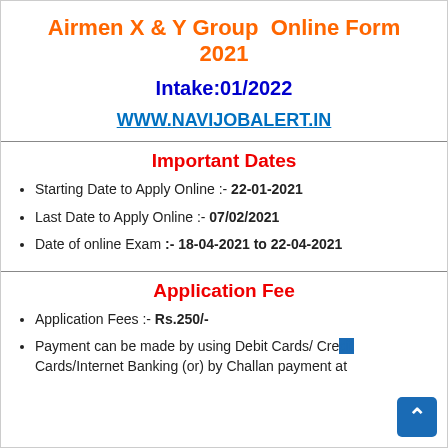Airmen X & Y Group  Online Form 2021
Intake:01/2022
WWW.NAVIJOBALERT.IN
Important Dates
Starting Date to Apply Online :- 22-01-2021
Last Date to Apply Online :- 07/02/2021
Date of online Exam :- 18-04-2021 to 22-04-2021
Application Fee
Application Fees :- Rs.250/-
Payment can be made by using Debit Cards/ Credit Cards/Internet Banking (or) by Challan payment at